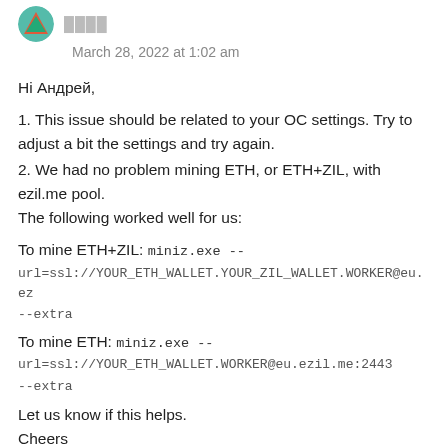March 28, 2022 at 1:02 am
Hi Андрей,
1. This issue should be related to your OC settings. Try to adjust a bit the settings and try again.
2. We had no problem mining ETH, or ETH+ZIL, with ezil.me pool.
The following worked well for us:
To mine ETH+ZIL: miniz.exe --
url=ssl://YOUR_ETH_WALLET.YOUR_ZIL_WALLET.WORKER@eu.ez
--extra
To mine ETH: miniz.exe --
url=ssl://YOUR_ETH_WALLET.WORKER@eu.ezil.me:2443
--extra
Let us know if this helps.
Cheers
Reply